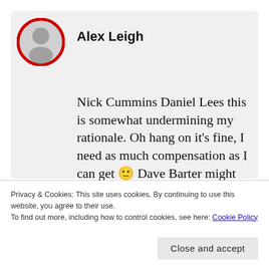[Figure (illustration): Profile avatar: grey circle with generic person silhouette, outlined in red]
Alex Leigh
Nick Cummins Daniel Lees this is somewhat undermining my rationale. Oh hang on it's fine, I need as much compensation as I can get 🙂 Dave Barter might be. But you're so quick to
Privacy & Cookies: This site uses cookies. By continuing to use this website, you agree to their use.
To find out more, including how to control cookies, see here: Cookie Policy
Close and accept